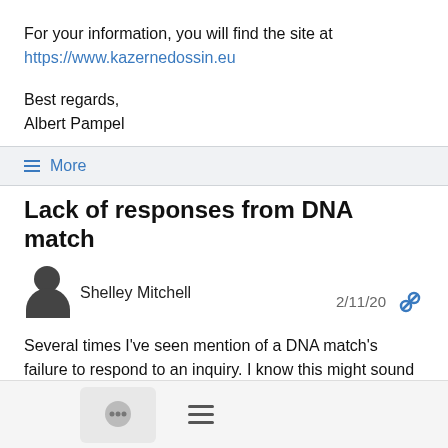For your information, you will find the site at https://www.kazernedossin.eu
Best regards,
Albert Pampel
≡ More
Lack of responses from DNA match
Shelley Mitchell  2/11/20
Several times I've seen mention of a DNA match's failure to respond to an inquiry. I know this might sound simplistic but what's amazing is the amount of non-spam that I find in my Spam file. I used to automatically delete my spam. Then, when I checked, I'd find email that should have been in my inbox.